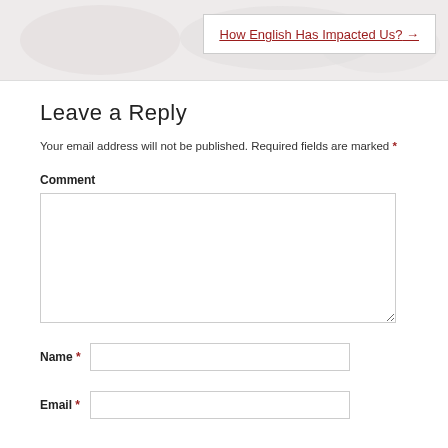[Figure (photo): Faded background banner image at top of page]
How English Has Impacted Us? →
Leave a Reply
Your email address will not be published. Required fields are marked *
Comment
Name *
Email *